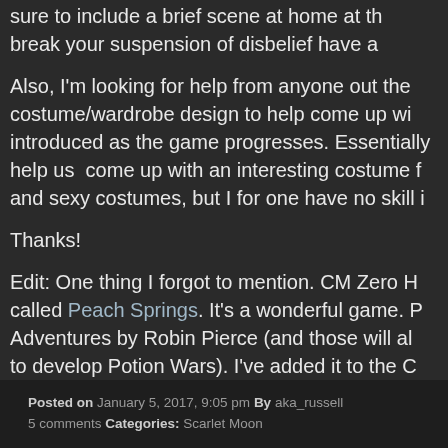sure to include a brief scene at home at the break your suspension of disbelief have a
Also, I'm looking for help from anyone out there with costume/wardrobe design to help come up with introduced as the game progresses. Essentially help us come up with an interesting costume and sexy costumes, but I for one have no skill i
Thanks!
Edit: One thing I forgot to mention. CM Zero H called Peach Springs. It's a wonderful game. P Adventures by Robin Pierce (and those will al to develop Potion Wars). I've added it to the C yet, so my analysis may be a bit out of date.
AKA
Posted on January 5, 2017, 9:05 pm By aka_russell
5 comments Categories: Scarlet Moon